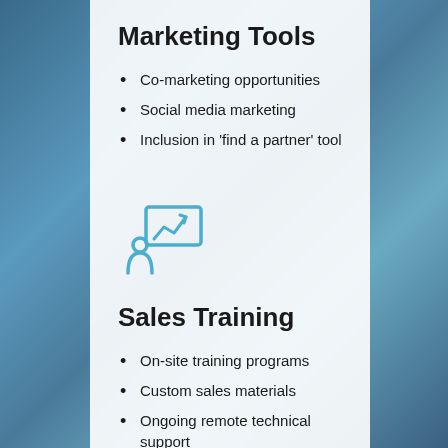Marketing Tools
Co-marketing opportunities
Social media marketing
Inclusion in 'find a partner' tool
[Figure (illustration): Blue icon of a person presenting a chart with an upward arrow]
Sales Training
On-site training programs
Custom sales materials
Ongoing remote technical support